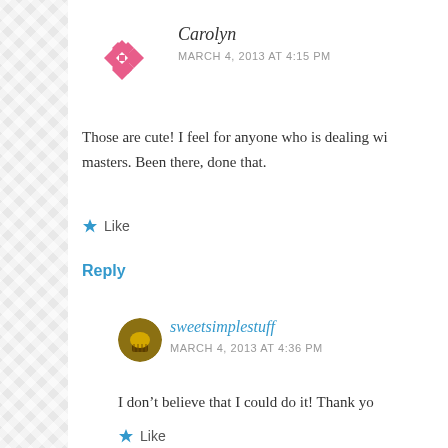[Figure (illustration): Pink decorative snowflake/geometric avatar icon for user Carolyn]
Carolyn
MARCH 4, 2013 AT 4:15 PM
Those are cute! I feel for anyone who is dealing with masters. Been there, done that.
Like
Reply
[Figure (photo): Small circular avatar showing a cupcake image for user sweetsimplestuff]
sweetsimplestuff
MARCH 4, 2013 AT 4:36 PM
I don't believe that I could do it! Thank yo
Like
Reply